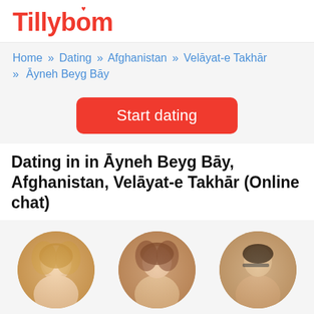Tillybom
Home » Dating » Afghanistan » Velāyat-e Takhār » Āyneh Beyg Bāy
Start dating
Dating in in Āyneh Beyg Bāy, Afghanistan, Velāyat-e Takhār (Online chat)
[Figure (photo): Profile photo of Kristin, 41 — circular avatar]
Kristin, 41
[Figure (photo): Profile photo of Ellen, 75 — circular avatar]
Ellen, 75
[Figure (photo): Profile photo of Salman, 31 — circular avatar]
Salman, 31